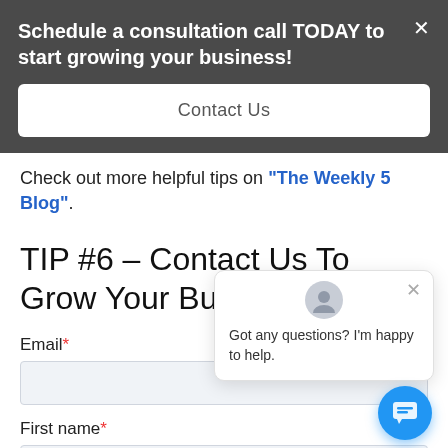Schedule a consultation call TODAY to start growing your business!
Contact Us
Check out more helpful tips on "The Weekly 5 Blog".
TIP #6 – Contact Us To Grow Your Business
Email*
First name*
[Figure (screenshot): Chat popup bubble with avatar and message: Got any questions? I'm happy to help.]
[Figure (other): Blue circular chat button with chat icon]